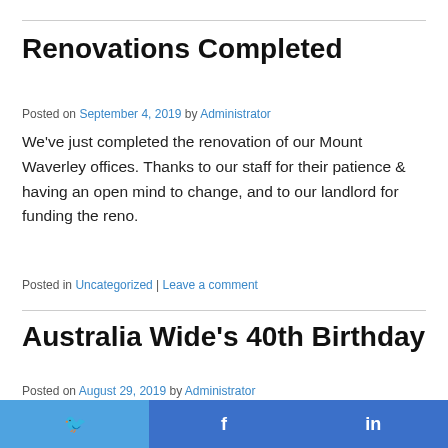Renovations Completed
Posted on September 4, 2019 by Administrator
We've just completed the renovation of our Mount Waverley offices. Thanks to our staff for their patience & having an open mind to change, and to our landlord for funding the reno.
Posted in Uncategorized | Leave a comment
Australia Wide's 40th Birthday
Posted on August 29, 2019 by Administrator
Celebrating Australia Wide's 40th birthday last Friday with the
Twitter | Facebook | in